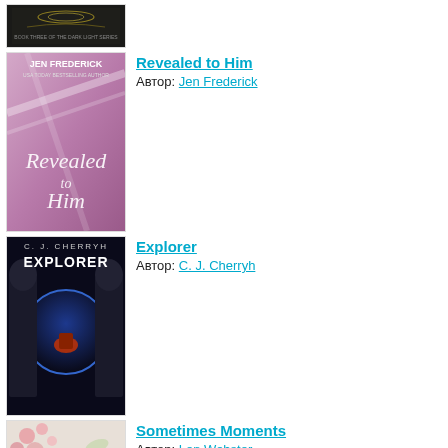[Figure (illustration): Book cover: Dark decorative cover, Book Three of The Dark Light Series (partial, top portion)]
[Figure (illustration): Book cover: Revealed to Him by Jen Frederick — purple/pink toned cover with cursive title text]
Revealed to Him
Автор: Jen Frederick
[Figure (illustration): Book cover: Explorer by C. J. Cherryh — dark sci-fi cover with alien figures and motorcycle rider]
Explorer
Автор: C. J. Cherryh
[Figure (illustration): Book cover: Sometimes Moments by Len Webster — partial, floral/nature themed cover]
Sometimes Moments
Автор: Len Webster